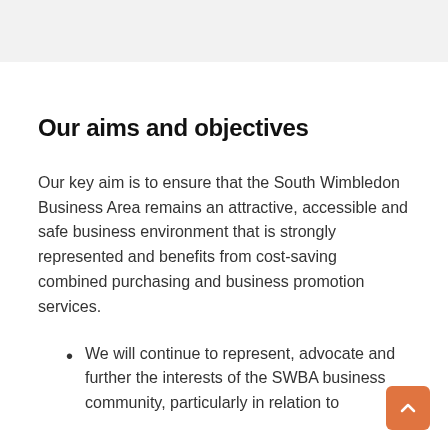Our aims and objectives
Our key aim is to ensure that the South Wimbledon Business Area remains an attractive, accessible and safe business environment that is strongly represented and benefits from cost-saving combined purchasing and business promotion services.
We will continue to represent, advocate and further the interests of the SWBA business community, particularly in relation to